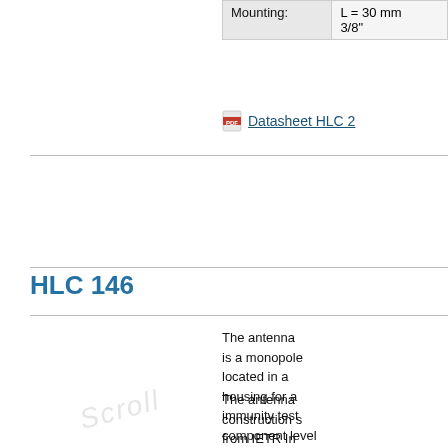| Mounting: |  |
| --- | --- |
| Mounting: | L = 30 mm
3/8" |
Datasheet HLC 2
HLC 146
The antenna is a monopole located in a housing for a immunity test component level antenna type proposed in the standard ISO
The antenna construction from IETR Institute d'Electronique Telecommunications de Rennes